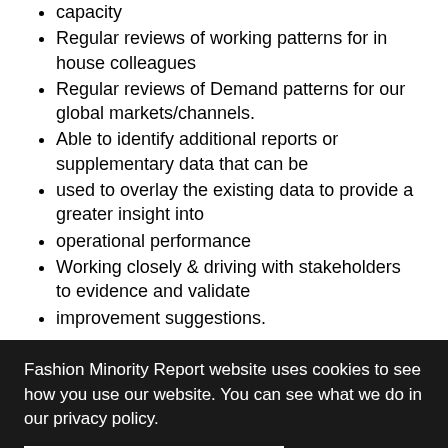capacity
Regular reviews of working patterns for in house colleagues
Regular reviews of Demand patterns for our global markets/channels.
Able to identify additional reports or supplementary data that can be
used to overlay the existing data to provide a greater insight into
operational performance
Working closely & driving with stakeholders to evidence and validate
improvement suggestions.
Fashion Minority Report website uses cookies to see how you use our website. You can see what we do in our privacy policy.
I accept all cookies
I accept strictly necessery cookies.